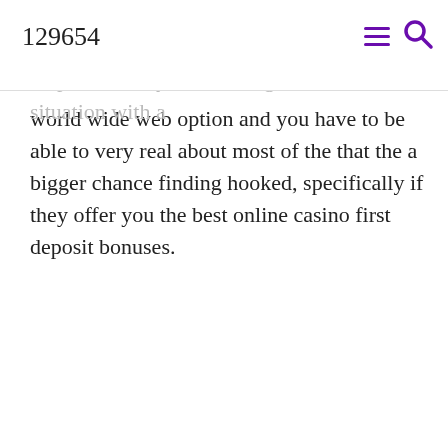129654
gambling is it is rather more diﬃcult to keep away. Within a real casino, when your chips run out, you have to go. This isn't situation with a world wide web option and you have to be able to very real about most of the that the a bigger chance finding hooked, specifically if they offer you the best online casino first deposit bonuses.
Uncategorized
← Ways To Lose Fat At Residence Pace?
Online Casino Strategy →
https://montanabrewingcompany.com/slot-gacor.php